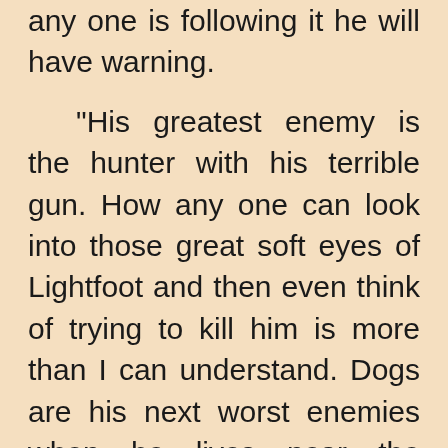any one is following it he will have warning. "His greatest enemy is the hunter with his terrible gun. How any one can look into those great soft eyes of Lightfoot and then even think of trying to kill him is more than I can understand. Dogs are his next worst enemies when he lives near the homes of men. When he lives where Wolves, Panthers and Bears are